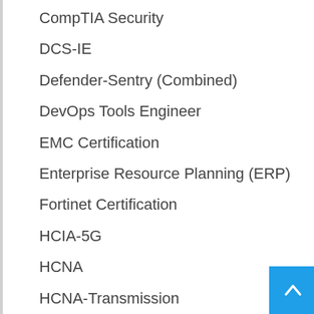CompTIA Security
DCS-IE
Defender-Sentry (Combined)
DevOps Tools Engineer
EMC Certification
Enterprise Resource Planning (ERP)
Fortinet Certification
HCIA-5G
HCNA
HCNA-Transmission
HCNP-R
HP Certification III
HP Certifications